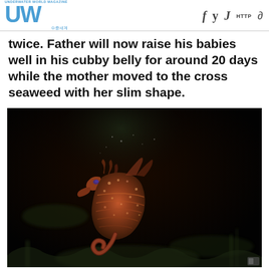UNDERWATER WORLD MAGAZINE UW 수중세계
twice. Father will now raise his babies well in his cubby belly for around 20 days while the mother moved to the cross seaweed with her slim shape.
[Figure (photo): Close-up underwater photograph of a seahorse with reddish-brown speckled body against a dark background with blurred seaweed/coral]